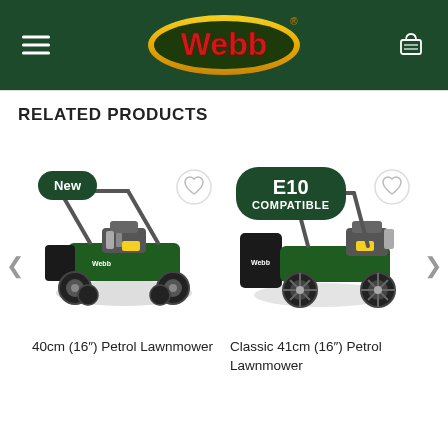[Figure (logo): Webb brand logo on dark green header bar with hamburger menu icon on left and shopping cart icon on right]
RELATED PRODUCTS
[Figure (photo): 40cm (16") Petrol Lawnmower by Webb with 'New' badge in dark green oval]
[Figure (photo): Classic 41cm (16") Petrol Lawnmower by Webb with 'E10 COMPATIBLE' badge in dark green oval]
40cm (16") Petrol Lawnmower
Classic 41cm (16") Petrol Lawnmower